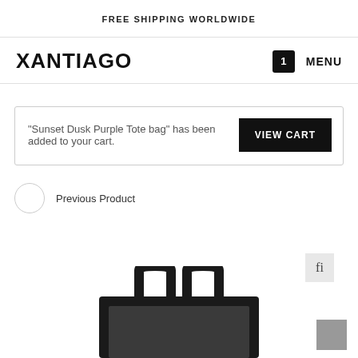FREE SHIPPING WORLDWIDE
XANTIAGO
"Sunset Dusk Purple Tote bag" has been added to your cart.
VIEW CART
Previous Product
[Figure (photo): Partial view of a dark/black tote bag from the top, showing handles and upper portion of the bag against white background]